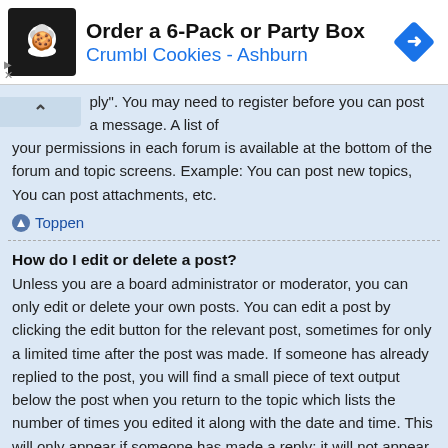[Figure (infographic): Advertisement banner for Crumbl Cookies - Ashburn showing logo, text 'Order a 6-Pack or Party Box', subtitle 'Crumbl Cookies - Ashburn', and a blue diamond navigation arrow icon]
ply". You may need to register before you can post a message. A list of your permissions in each forum is available at the bottom of the forum and topic screens. Example: You can post new topics, You can post attachments, etc.
Toppen
How do I edit or delete a post?
Unless you are a board administrator or moderator, you can only edit or delete your own posts. You can edit a post by clicking the edit button for the relevant post, sometimes for only a limited time after the post was made. If someone has already replied to the post, you will find a small piece of text output below the post when you return to the topic which lists the number of times you edited it along with the date and time. This will only appear if someone has made a reply; it will not appear if a moderator or administrator edited the post, though they may leave a note as to why they've edited the post at their own discretion. Please note that normal users cannot delete a post once someone has replied.
Toppen
How do I add a signature to my post?
To add a signature to a post you must first create one via your User Control